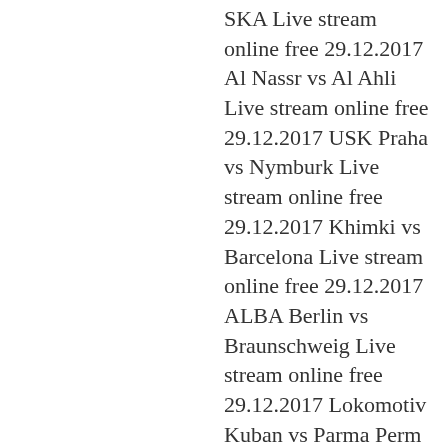SKA Live stream online free 29.12.2017 Al Nassr vs Al Ahli Live stream online free 29.12.2017 USK Praha vs Nymburk Live stream online free 29.12.2017 Khimki vs Barcelona Live stream online free 29.12.2017 ALBA Berlin vs Braunschweig Live stream online free 29.12.2017 Lokomotiv Kuban vs Parma Perm Live stream online free 29.12.2017 Araberri vs Melilla Live stream online